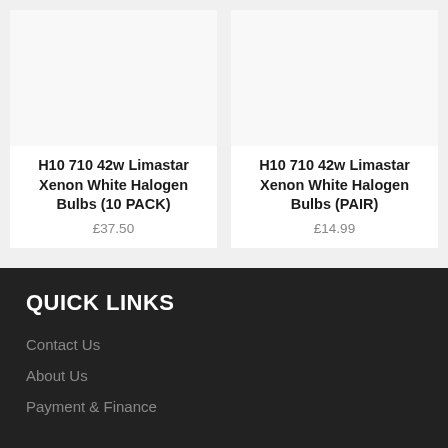[Figure (photo): Product image placeholder for H10 710 42w Limastar Xenon White Halogen Bulbs 10 PACK]
H10 710 42w Limastar Xenon White Halogen Bulbs (10 PACK)
£37.50
[Figure (photo): Product image placeholder for H10 710 42w Limastar Xenon White Halogen Bulbs PAIR]
H10 710 42w Limastar Xenon White Halogen Bulbs (PAIR)
£14.99
QUICK LINKS
Contact Us
About Us
Payment & Finance